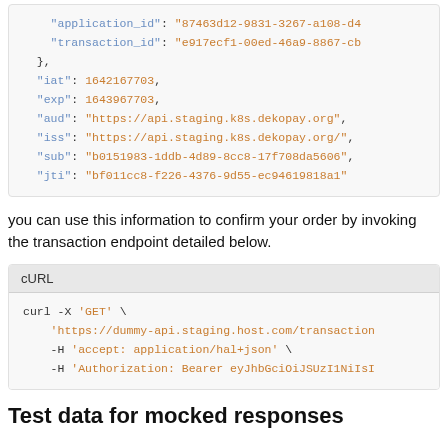"application_id": "87463d12-9831-3267-a108-d4"
    "transaction_id": "e917ecf1-00ed-46a9-8867-cb"
},
"iat": 1642167703,
"exp": 1643967703,
"aud": "https://api.staging.k8s.dekopay.org",
"iss": "https://api.staging.k8s.dekopay.org/",
"sub": "b0151983-1ddb-4d89-8cc8-17f708da5606",
"jti": "bf011cc8-f226-4376-9d55-ec94619818a1"
you can use this information to confirm your order by invoking the transaction endpoint detailed below.
curl -X 'GET' \
    'https://dummy-api.staging.host.com/transaction
    -H 'accept: application/hal+json' \
    -H 'Authorization: Bearer eyJhbGciOiJSUzI1NiIsI
Test data for mocked responses